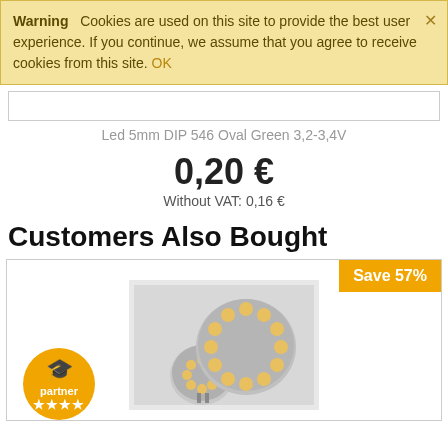Warning   Cookies are used on this site to provide the best user experience. If you continue, we assume that you agree to receive cookies from this site. OK
Led 5mm DIP 546 Oval Green 3,2-3,4V
0,20 €
Without VAT: 0,16 €
Customers Also Bought
[Figure (photo): Product card showing two LED G4 disc light bulbs with SMD LEDs on a grey background, with a Save 57% badge in the top right and a partner badge in the bottom left]